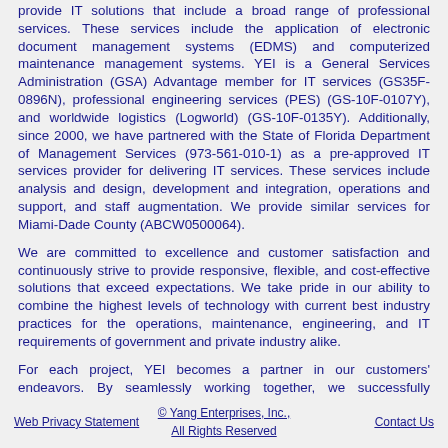provide IT solutions that include a broad range of professional services. These services include the application of electronic document management systems (EDMS) and computerized maintenance management systems. YEI is a General Services Administration (GSA) Advantage member for IT services (GS35F-0896N), professional engineering services (PES) (GS-10F-0107Y), and worldwide logistics (Logworld) (GS-10F-0135Y). Additionally, since 2000, we have partnered with the State of Florida Department of Management Services (973-561-010-1) as a pre-approved IT services provider for delivering IT services. These services include analysis and design, development and integration, operations and support, and staff augmentation. We provide similar services for Miami-Dade County (ABCW0500064).
We are committed to excellence and customer satisfaction and continuously strive to provide responsive, flexible, and cost-effective solutions that exceed expectations. We take pride in our ability to combine the highest levels of technology with current best industry practices for the operations, maintenance, engineering, and IT requirements of government and private industry alike.
For each project, YEI becomes a partner in our customers' endeavors. By seamlessly working together, we successfully implement technical and management solutions that enable our customers to keep pace with their evolving needs and technological growth. As a result, our customers can focus on and readily achieve their primary objectives.
Web Privacy Statement   © Yang Enterprises, Inc., All Rights Reserved   Contact Us